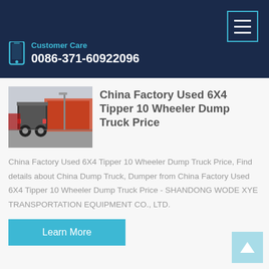Customer Care
0086-371-60922096
China Factory Used 6X4 Tipper 10 Wheeler Dump Truck Price
China Factory Used 6X4 Tipper 10 Wheeler Dump Truck Price, Find details about China Dump Truck, Dumper from China Factory Used 6X4 Tipper 10 Wheeler Dump Truck Price - SHANDONG WODE XYE TRANSPORTATION EQUIPMENT CO., LTD.
[Figure (photo): Rear view of a dump truck in a factory/industrial parking area]
Learn More